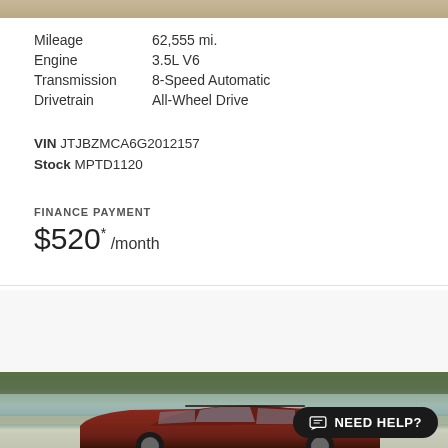| Attribute | Value |
| --- | --- |
| Mileage | 62,555 mi. |
| Engine | 3.5L V6 |
| Transmission | 8-Speed Automatic |
| Drivetrain | All-Wheel Drive |
VIN JTJBZMCA6G2012157
Stock MPTD1120
FINANCE PAYMENT
$520* /month
2010 Lexus
RX 350
[Figure (photo): Photo of a red 2010 Lexus RX 350 SUV parked near a lake with trees and hills in the background]
NEED HELP?